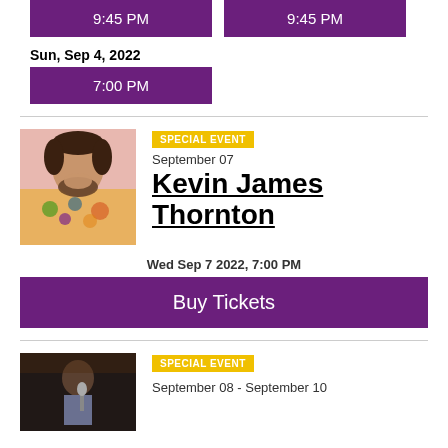9:45 PM
9:45 PM
Sun, Sep 4, 2022
7:00 PM
[Figure (photo): Man in colorful floral shirt resting chin on hand, pink background]
SPECIAL EVENT
September 07
Kevin James Thornton
Wed Sep 7 2022, 7:00 PM
Buy Tickets
[Figure (photo): Man holding microphone in dark setting]
SPECIAL EVENT
September 08 - September 10